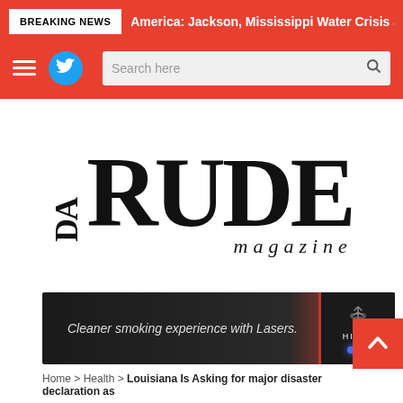BREAKING NEWS  America: Jackson, Mississippi Water Crisis a Fail
[Figure (logo): Da Rude Magazine logo — large serif RUDE text with 'Da' rotated vertically on left and 'magazine' in italic below]
[Figure (infographic): Advertisement banner: Cleaner smoking experience with Lasers. with Hioki brand logo on right]
Home > Health > Louisiana Is Asking for major disaster declaration as